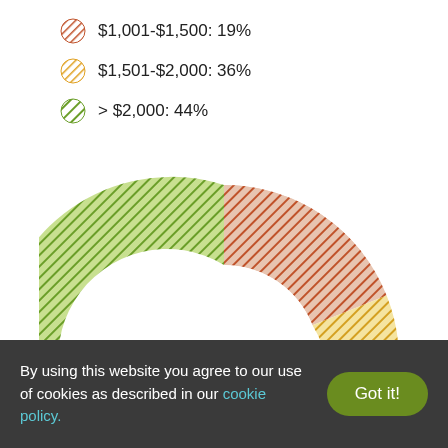[Figure (donut-chart): Donut chart of cost ranges]
By using this website you agree to our use of cookies as described in our cookie policy.